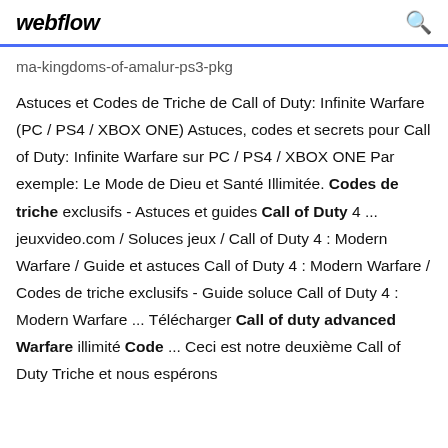webflow
ma-kingdoms-of-amalur-ps3-pkg
Astuces et Codes de Triche de Call of Duty: Infinite Warfare (PC / PS4 / XBOX ONE) Astuces, codes et secrets pour Call of Duty: Infinite Warfare sur PC / PS4 / XBOX ONE Par exemple: Le Mode de Dieu et Santé Illimitée. Codes de triche exclusifs - Astuces et guides Call of Duty 4 ... jeuxvideo.com / Soluces jeux / Call of Duty 4 : Modern Warfare / Guide et astuces Call of Duty 4 : Modern Warfare / Codes de triche exclusifs - Guide soluce Call of Duty 4 : Modern Warfare ... Télécharger Call of duty advanced Warfare illimité Code ... Ceci est notre deuxième Call of Duty Triche et nous espérons